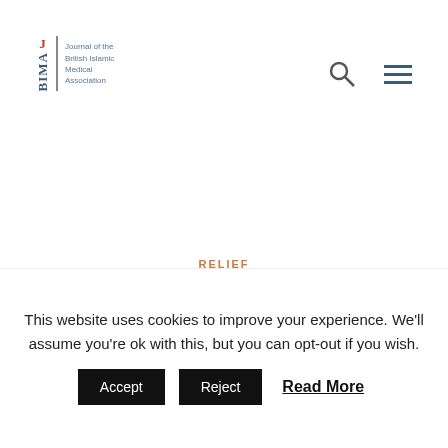[Figure (logo): JBIMA logo — Journal of the British Islamic Medical Association]
RELIEF
Health Care and Ongoing Conflict
BY DR AYMAN S JUNDI,  MD MSC DIPIMC FRCEM | JANUARY 10, 2020
This website uses cookies to improve your experience. We'll assume you're ok with this, but you can opt-out if you wish.